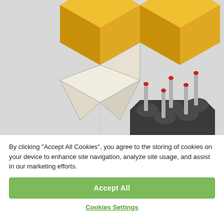[Figure (engineering-diagram): 3D engineering/CAD illustration showing golden/yellow geometric box shapes at the top and dark metallic electronic component (connector pins with red tips on a dark base) at the bottom, on a light gray background.]
By clicking “Accept All Cookies”, you agree to the storing of cookies on your device to enhance site navigation, analyze site usage, and assist in our marketing efforts.
Accept All
Cookies Settings